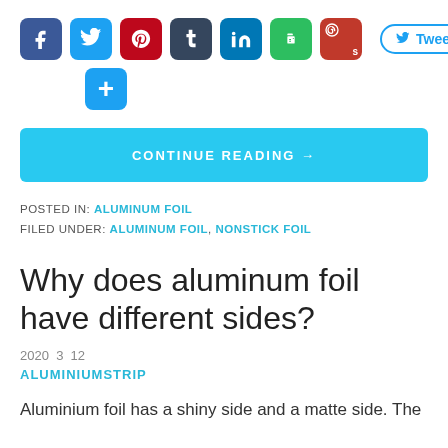[Figure (infographic): Social media share icons row: Facebook (blue), Twitter (blue), Pinterest (red), Tumblr (dark), LinkedIn (blue), Evernote (green), Pinterest/S (red), Tweet button (outlined blue)]
[Figure (infographic): Plus/Add icon button (light blue)]
CONTINUE READING →
POSTED IN: ALUMINUM FOIL
FILED UNDER: ALUMINUM FOIL, NONSTICK FOIL
Why does aluminum foil have different sides?
2020 3 12
ALUMINIUMSTRIP
Aluminium foil has a shiny side and a matte side. The